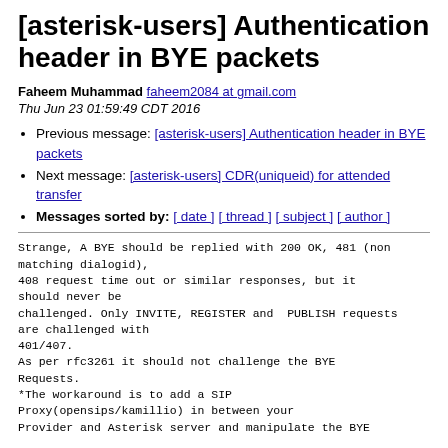[asterisk-users] Authentication header in BYE packets
Faheem Muhammad faheem2084 at gmail.com
Thu Jun 23 01:59:49 CDT 2016
Previous message: [asterisk-users] Authentication header in BYE packets
Next message: [asterisk-users] CDR(uniqueid) for attended transfer
Messages sorted by: [ date ] [ thread ] [ subject ] [ author ]
Strange, A BYE should be replied with 200 OK, 481 (non matching dialogid),
408 request time out or similar responses, but it should never be
challenged. Only INVITE, REGISTER and  PUBLISH requests are challenged with
401/407.
As per rfc3261 it should not challenge the BYE Requests.
*The workaround is to add a SIP
Proxy(opensips/kamillio) in between your
Provider and Asterisk server and manipulate the BYE